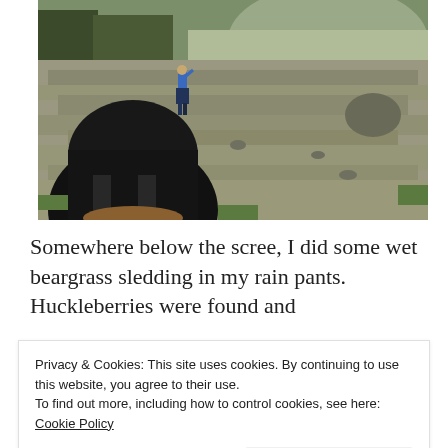[Figure (photo): Outdoor mountain scree field scene with a hiker in blue jacket standing in the distance looking out, and a large dark backpack/person in the foreground. Rocky alpine terrain with some sparse vegetation.]
Somewhere below the scree, I did some wet beargrass sledding in my rain pants. Huckleberries were found and
Privacy & Cookies: This site uses cookies. By continuing to use this website, you agree to their use.
To find out more, including how to control cookies, see here: Cookie Policy
Close and accept
[Figure (photo): Bottom strip showing partial outdoor/hiking photos in three segments with yellow, blue-grey, and light grey tones.]